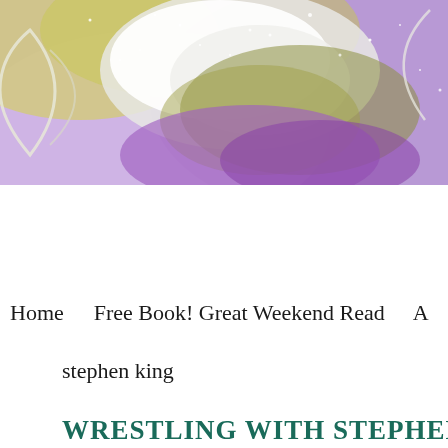[Figure (illustration): Decorative banner image with colorful clouds in yellow, green, purple and white tones, with stars/sparkles and a crescent moon shape on the left side. Fantasy/dreamy aesthetic background.]
Home    Free Book! Great Weekend Read    A
stephen king
WRESTLING WITH STEPHEN KING